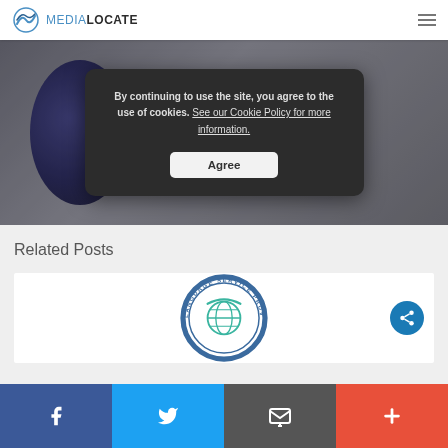MEDIALOCATE
[Figure (screenshot): Hero banner showing Medialocate Achieves Renewal of Coveted EN15038-2006 Certification with a blurred dark blue background image]
By continuing to use the site, you agree to the use of cookies. See our Cookie Policy for more information.
Agree
Related Posts
[Figure (logo): Language Service Provider circular badge/seal logo in blue and teal colors]
Facebook | Twitter | Email | Plus